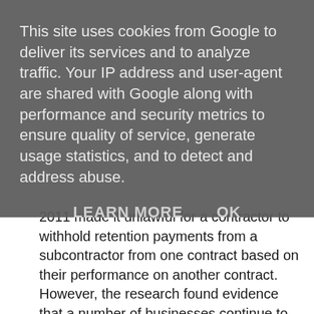This site uses cookies from Google to deliver its services and to analyze traffic. Your IP address and user-agent are shared with Google along with performance and security metrics to ensure quality of service, generate usage statistics, and to detect and address abuse.
LEARN MORE   OK
2011 made it unlawful for a contractor to withhold retention payments from a subcontractor from one contract based on their performance on another contract.  However, the research found evidence that a number of businesses continue to link the payment of retentions to the subcontractors performance on other contracts.
Subcontractors are exposed to the risk of upstream insolvencies, where a business in the supply chain above them goes insolvent. Retention money is not ring-fenced, but instead is kept in the general bank account, so the subcontractor would become an unsecured trade